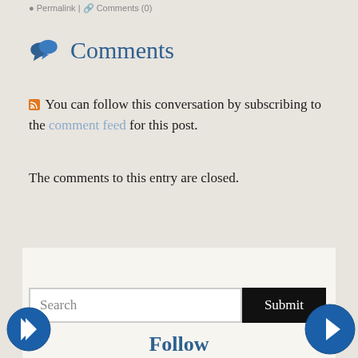Permalink | Comments (0)
Comments
You can follow this conversation by subscribing to the comment feed for this post.
The comments to this entry are closed.
Search
Submit
Follow